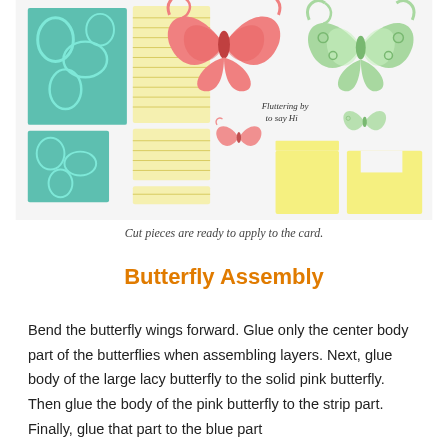[Figure (photo): Flat lay photo of cut paper craft pieces on a white surface: teal/mint patterned card pieces, yellow striped panels, a yellow rectangular strip, coral/pink butterfly die-cuts with a 'Fluttering by to say Hi' sentiment, green lacy butterfly die-cuts, and yellow rectangular card base pieces.]
Cut pieces are ready to apply to the card.
Butterfly Assembly
Bend the butterfly wings forward. Glue only the center body part of the butterflies when assembling layers. Next, glue body of the large lacy butterfly to the solid pink butterfly. Then glue the body of the pink butterfly to the strip part. Finally, glue that part to the blue part